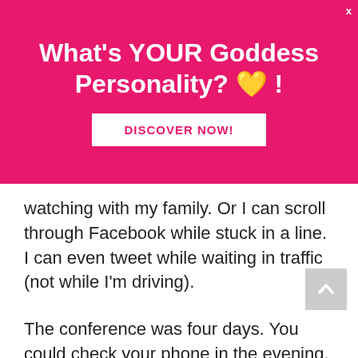[Figure (infographic): Pink advertisement banner with white text reading 'What's YOUR Goddess Personality? 💛 !' and a white 'DISCOVER NOW!' button with pink text, on a hot pink background. A small 'x' close button in top right corner.]
watching with my family. Or I can scroll through Facebook while stuck in a line. I can even tweet while waiting in traffic (not while I'm driving).
The conference was four days. You could check your phone in the evening, but I was exhausted so I called home and connected to see if anyone needed me or anything needed my attention for my business. Nope. Everyone was doing great!
I started actually changing from my lack of